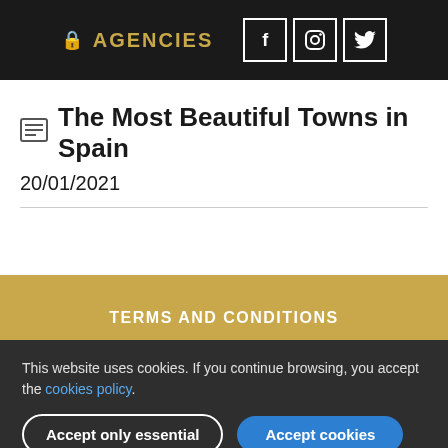AGENCIES
The Most Beautiful Towns in Spain
20/01/2021
TERMS AND CONDITIONS
PRIVACY POLICY
COOKIES POLICY
TRAVEL SAFE
This website uses cookies. If you continue browsing, you accept the cookies policy.
Accept only essential
Accept cookies